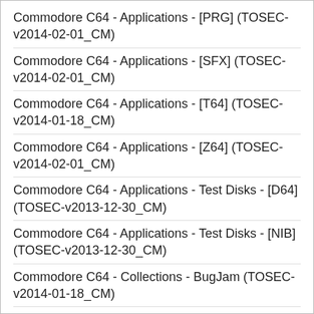Commodore C64 - Applications - [PRG] (TOSEC-v2014-02-01_CM)
Commodore C64 - Applications - [SFX] (TOSEC-v2014-02-01_CM)
Commodore C64 - Applications - [T64] (TOSEC-v2014-01-18_CM)
Commodore C64 - Applications - [Z64] (TOSEC-v2014-02-01_CM)
Commodore C64 - Applications - Test Disks - [D64] (TOSEC-v2013-12-30_CM)
Commodore C64 - Applications - Test Disks - [NIB] (TOSEC-v2013-12-30_CM)
Commodore C64 - Collections - BugJam (TOSEC-v2014-01-18_CM)
Commodore C64 - Collections - C64CD'96 (TOSEC-v2014-02-01_CM)
Commodore C64 - Collections - Derbyshire Ram (TOSEC-v2014-02-10_CM)
Commodore C64 - Collections - Hornet (TOSEC-v2013-